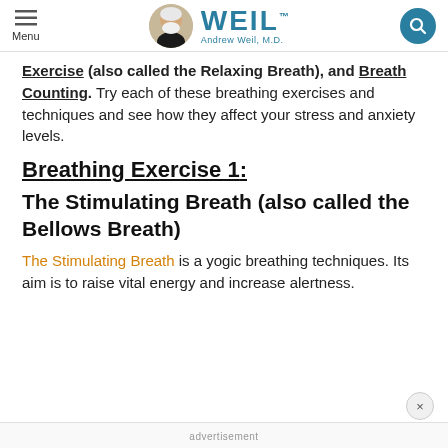Menu | WEIL Andrew Weil, M.D.
Exercise (also called the Relaxing Breath), and Breath Counting. Try each of these breathing exercises and techniques and see how they affect your stress and anxiety levels.
Breathing Exercise 1:
The Stimulating Breath (also called the Bellows Breath)
The Stimulating Breath is a yogic breathing techniques. Its aim is to raise vital energy and increase alertness.
advertisement